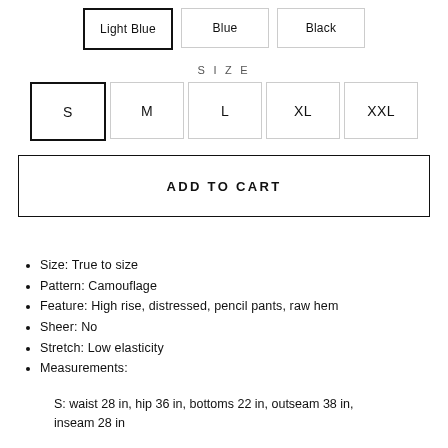Light Blue
Blue
Black
SIZE
S
M
L
XL
XXL
ADD TO CART
Size: True to size
Pattern: Camouflage
Feature: High rise, distressed, pencil pants, raw hem
Sheer: No
Stretch: Low elasticity
Measurements:
S: waist 28 in, hip 36 in, bottoms 22 in, outseam 38 in, inseam 28 in